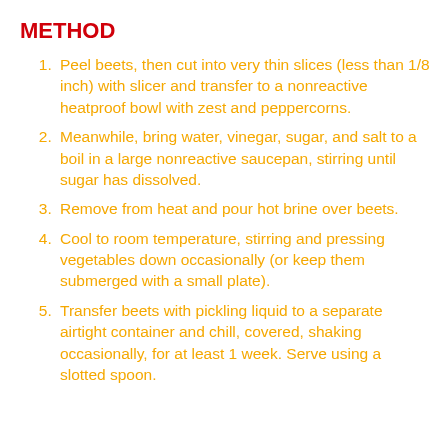METHOD
Peel beets, then cut into very thin slices (less than 1/8 inch) with slicer and transfer to a nonreactive heatproof bowl with zest and peppercorns.
Meanwhile, bring water, vinegar, sugar, and salt to a boil in a large nonreactive saucepan, stirring until sugar has dissolved.
Remove from heat and pour hot brine over beets.
Cool to room temperature, stirring and pressing vegetables down occasionally (or keep them submerged with a small plate).
Transfer beets with pickling liquid to a separate airtight container and chill, covered, shaking occasionally, for at least 1 week. Serve using a slotted spoon.